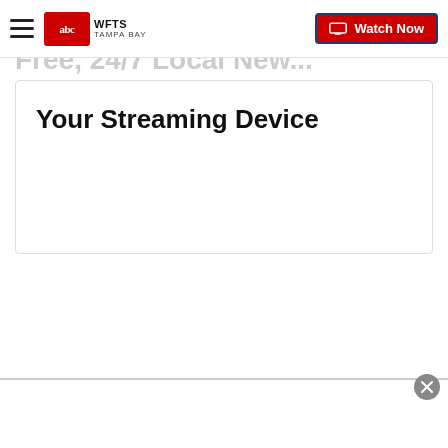WFTS Tampa Bay — Watch Now
Your Streaming Device
News   Video   Good Morning Tampa Bay   Driving Tampa Bay Forward   Taking Action for You